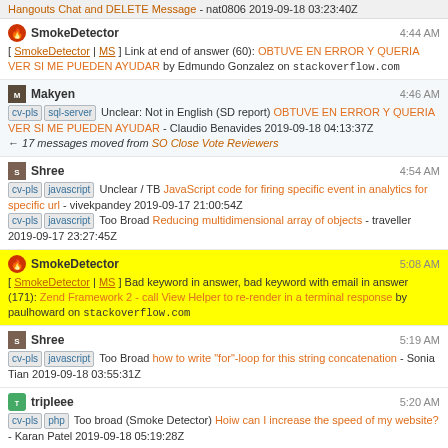Hangouts Chat and DELETE Message - nat0806 2019-09-18 03:23:40Z
SmokeDetector 4:44 AM
[ SmokeDetector | MS ] Link at end of answer (60): OBTUVE EN ERROR Y QUERIA VER SI ME PUEDEN AYUDAR by Edmundo Gonzalez on stackoverflow.com
Makyen 4:46 AM
cv-pls sql-server Unclear: Not in English (SD report) OBTUVE EN ERROR Y QUERIA VER SI ME PUEDEN AYUDAR - Claudio Benavides 2019-09-18 04:13:37Z
← 17 messages moved from SO Close Vote Reviewers
Shree 4:54 AM
cv-pls javascript Unclear / TB JavaScript code for firing specific event in analytics for specific url - vivekpandey 2019-09-17 21:00:54Z
cv-pls javascript Too Broad Reducing multidimensional array of objects - traveller 2019-09-17 23:27:45Z
SmokeDetector 5:08 AM
[ SmokeDetector | MS ] Bad keyword in answer, bad keyword with email in answer (171): Zend Framework 2 - call View Helper to re-render in a terminal response by paulhoward on stackoverflow.com
Shree 5:19 AM
cv-pls javascript Too Broad how to write "for"-loop for this string concatenation - Sonia Tian 2019-09-18 03:55:31Z
tripleee 5:20 AM
cv-pls php Too broad (Smoke Detector) Hoiw can I increase the speed of my website? - Karan Patel 2019-09-18 05:19:28Z